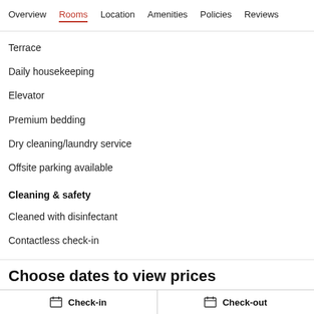Overview  Rooms  Location  Amenities  Policies  Reviews
Terrace
Daily housekeeping
Elevator
Premium bedding
Dry cleaning/laundry service
Offsite parking available
Cleaning & safety
Cleaned with disinfectant
Contactless check-in
Hand sanitiser provided
Personal protective equipment
Choose dates to view prices
Check-in   Check-out